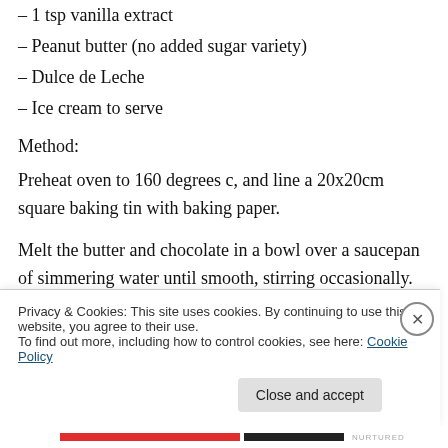– 1 tsp vanilla extract
– Peanut butter (no added sugar variety)
– Dulce de Leche
– Ice cream to serve
Method:
Preheat oven to 160 degrees c, and line a 20x20cm square baking tin with baking paper.
Melt the butter and chocolate in a bowl over a saucepan of simmering water until smooth, stirring occasionally. Set aside to cool slightly. In a large bowl mix together the eggs
Privacy & Cookies: This site uses cookies. By continuing to use this website, you agree to their use.
To find out more, including how to control cookies, see here: Cookie Policy